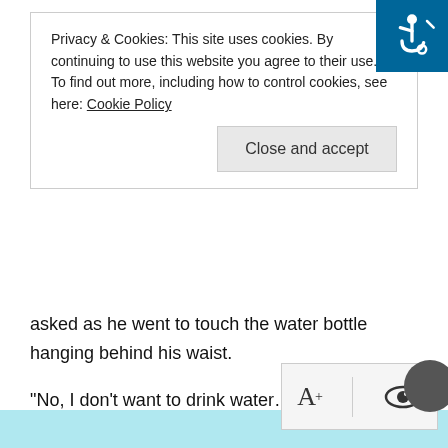Privacy & Cookies: This site uses cookies. By continuing to use this website you agree to their use.
To find out more, including how to control cookies, see here: Cookie Policy
Close and accept
asked as he went to touch the water bottle hanging behind his waist.
“No, I don’t want to drink water…” Lan Yu’s eyes burned into his, “Want to play an exciting game?”
Lu RanKong looked at him, alertly stopped and began to look around, and when he saw to the right, his gaze froze. Just over a hundred meters away, next to a few giant pillars of cactus, there was a surprisingly small pride of lions, what appeared to be a male and four or five females, lazily lying on their backs.
“Want to play? I can go ahead and rush over…” L… off his overhead jacket and grabbed it in his hand,…